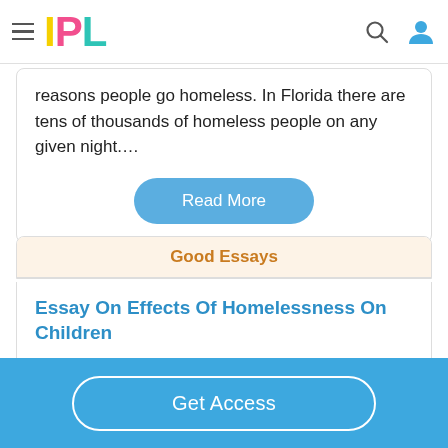IPL
reasons people go homeless. In Florida there are tens of thousands of homeless people on any given night....
Read More
Good Essays
Essay On Effects Of Homelessness On Children
730 Words
3 Pages
Homelessness is when people are without a proper
Get Access